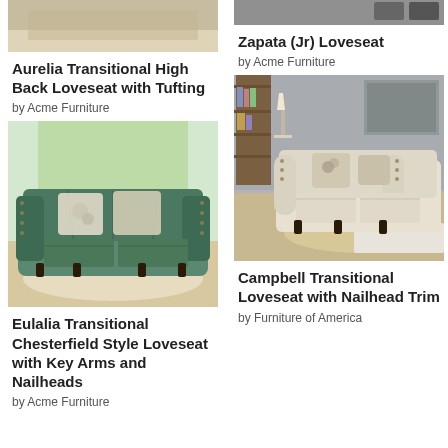[Figure (photo): Partial image of Aurelia Transitional High Back Loveseat with Tufting at top of page]
Aurelia Transitional High Back Loveseat with Tufting
by Acme Furniture
[Figure (photo): Partial image at top right of page]
Zapata (Jr) Loveseat
by Acme Furniture
[Figure (photo): Eulalia Transitional Chesterfield Style Loveseat with Key Arms and Nailheads - green tufted loveseat in room setting]
Eulalia Transitional Chesterfield Style Loveseat with Key Arms and Nailheads
by Acme Furniture
[Figure (photo): Campbell Transitional Loveseat with Nailhead Trim - beige loveseat in room setting with bookshelves]
Campbell Transitional Loveseat with Nailhead Trim
by Furniture of America